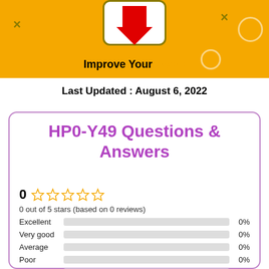[Figure (illustration): Yellow banner with phone illustration showing download arrow, X marks, circle decorations, and 'Improve Your Score' text]
Last Updated : August 6, 2022
HP0-Y49 Questions & Answers
0 ☆☆☆☆☆
0 out of 5 stars (based on 0 reviews)
| Category | Bar | Percentage |
| --- | --- | --- |
| Excellent |  | 0% |
| Very good |  | 0% |
| Average |  | 0% |
| Poor |  | 0% |
| Terrible |  | 0% |